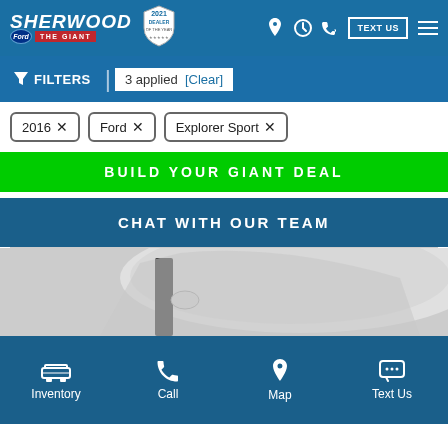Sherwood Ford - The Giant | 2021 Dealer of the Year
FILTERS | 3 applied [Clear]
2016 ×
Ford ×
Explorer Sport ×
BUILD YOUR GIANT DEAL
CHAT WITH OUR TEAM
[Figure (photo): Partial view of a silver Ford Explorer Sport SUV roof and side mirror]
Inventory | Call | Map | Text Us